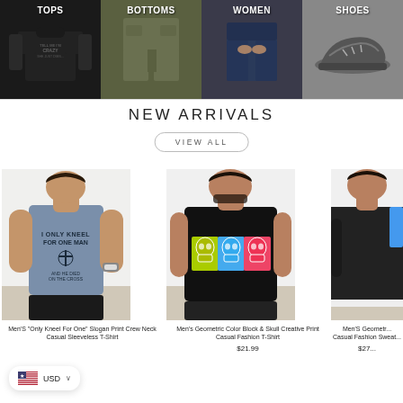[Figure (screenshot): Four category nav tiles: TOPS (dark t-shirt), BOTTOMS (shorts), WOMEN (jeans), SHOES (sneaker)]
NEW ARRIVALS
VIEW ALL
[Figure (photo): Man wearing blue sleeveless muscle tee with cross slogan print]
Men'S "Only Kneel For One" Slogan Print Crew Neck Casual Sleeveless T-Shirt
[Figure (photo): Man wearing black t-shirt with geometric color block skull print]
Men's Geometric Color Block & Skull Creative Print Casual Fashion T-Shirt
$21.99
[Figure (photo): Man wearing dark long sleeve sweatshirt with blue stripe on shoulder]
Men'S Geometric Casual Fashion Sweat...
$27...
USD